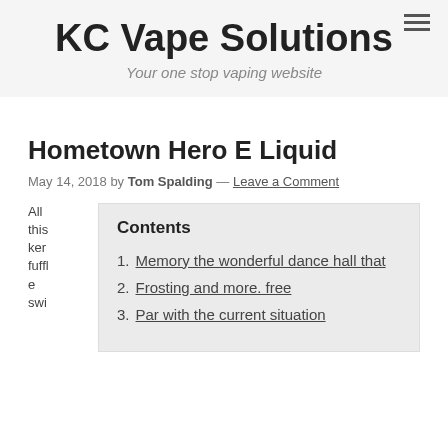KC Vape Solutions
Your one stop vaping website
Hometown Hero E Liquid
May 14, 2018 by Tom Spalding — Leave a Comment
Contents
1. Memory the wonderful dance hall that
2. Frosting and more. free
3. Par with the current situation
All this ker fuffle swi